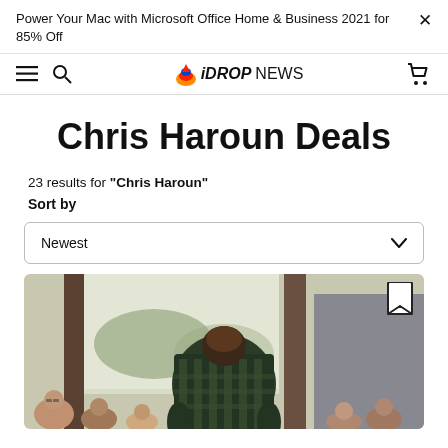Power Your Mac with Microsoft Office Home & Business 2021 for 85% Off
iDROPNEWS
Chris Haroun Deals
23 results for "Chris Haroun"
Sort by
Newest
[Figure (photo): Photo of a man in a plaid shirt viewed from behind, apparently presenting or teaching to a group of people seated at tables in an outdoor/indoor venue.]